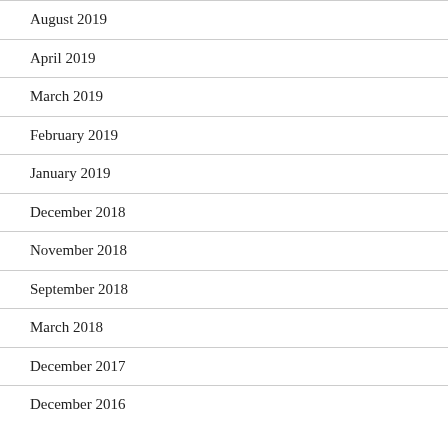August 2019
April 2019
March 2019
February 2019
January 2019
December 2018
November 2018
September 2018
March 2018
December 2017
December 2016